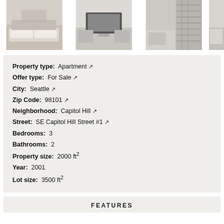[Figure (photo): Strip of four apartment interior photos showing living room, media room, staircase/industrial space, and partial fourth image]
Property type: Apartment
Offer type: For Sale
City: Seattle
Zip Code: 98101
Neighborhood: Capitol Hill
Street: SE Capitol Hill Street #1
Bedrooms: 3
Bathrooms: 2
Property size: 2000 ft²
Year: 2001
Lot size: 3500 ft²
FEATURES